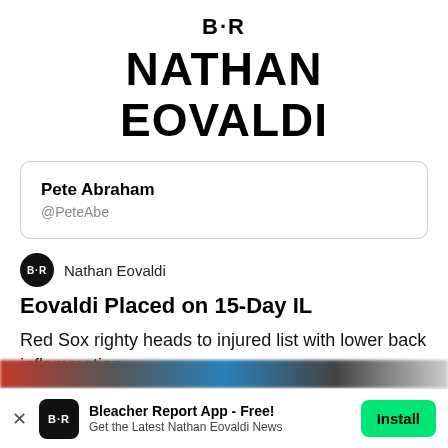B·R
NATHAN EOVALDI
Pete Abraham
@PeteAbe
Eovaldi Placed on 15-Day IL
Red Sox righty heads to injured list with lower back inflammation
Bleacher Report App - Free!
Get the Latest Nathan Eovaldi News